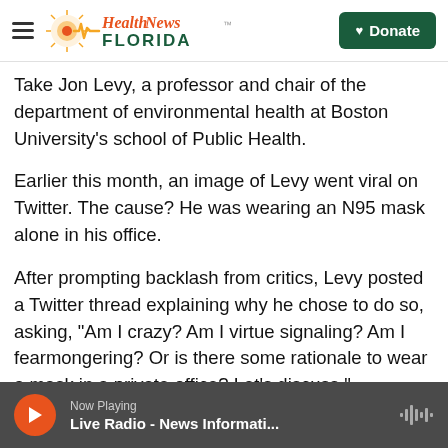Health News Florida — Donate button
Take Jon Levy, a professor and chair of the department of environmental health at Boston University's school of Public Health.
Earlier this month, an image of Levy went viral on Twitter. The cause? He was wearing an N95 mask alone in his office.
After prompting backlash from critics, Levy posted a Twitter thread explaining why he chose to do so, asking, "Am I crazy? Am I virtue signaling? Am I fearmongering? Or is there some rationale to wear a mask in a private office? Let's discuss."
Now Playing — Live Radio - News Informati...